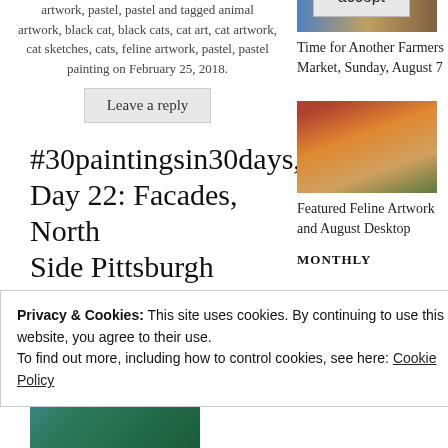artwork, pastel, pastel and tagged animal artwork, black cat, black cats, cat art, cat artwork, cat sketches, cats, feline artwork, pastel, pastel painting on February 25, 2018.
Leave a reply
[Figure (photo): Small thumbnail image in sidebar, colorful artwork or market scene]
Time for Another Farmers Market, Sunday, August 7
#30paintingsin30days, Day 22: Facades, North Side Pittsburgh
[Figure (photo): Thumbnail image of cat with flowers in sidebar]
Featured Feline Artwork and August Desktop
[Figure (photo): Partial painting image, blue and green tones, facade artwork]
This row of
Privacy & Cookies: This site uses cookies. By continuing to use this website, you agree to their use.
To find out more, including how to control cookies, see here: Cookie Policy
Close and accept
MONTHLY